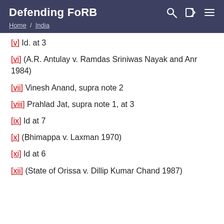Defending FoRB — Home / India
[v] Id. at 3
[vi] (A.R. Antulay v. Ramdas Sriniwas Nayak and Anr 1984)
[vii] Vinesh Anand, supra note 2
[viii] Prahlad Jat, supra note 1, at 3
[ix] Id at 7
[x] (Bhimappa v. Laxman 1970)
[xi] Id at 6
[xii] (State of Orissa v. Dillip Kumar Chand 1987)